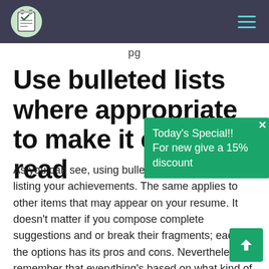Nav bar with logo and hamburger menu
…pg…
Use bulleted lists where appropriate to make it easier to read
[Figure (infographic): Green popup banner: Today's Special!! For new give a 15% discount, with close X button]
As you can see, using bullet points is quite good at listing your achievements. The same applies to other items that may appear on your resume. It doesn't matter if you compose complete suggestions and or break their fragments; each of the options has its pros and cons. Nevertheless, remember that everything's based on what kind of information you want to highlight and convey to the employer.